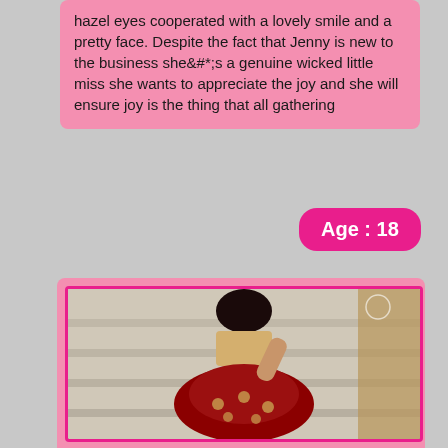hazel eyes cooperated with a lovely smile and a pretty face. Despite the fact that Jenny is new to the business she&#*;s a genuine wicked little miss she wants to appreciate the joy and she will ensure joy is the thing that all gathering
Age : 18
[Figure (photo): A young woman in traditional Indian attire (red and gold lehenga) posing on stairs]
Sexy Call Girls in Pune
Most Air Finest Indian Available In Your Surroundings